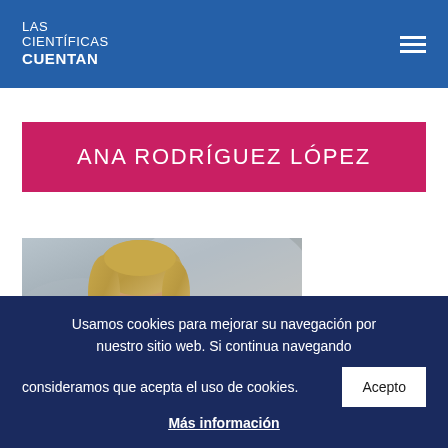LAS CIENTÍFICAS CUENTAN
ANA RODRÍGUEZ LÓPEZ
[Figure (photo): Portrait photo of a woman with blonde hair, cropped to show head and shoulders against a blurred background]
Usamos cookies para mejorar su navegación por nuestro sitio web. Si continua navegando consideramos que acepta el uso de cookies. Acepto
Más información